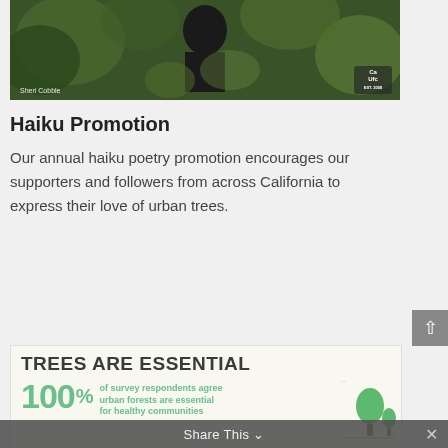[Figure (photo): Person outdoors among green foliage/trees, wearing dark clothing, with CalFire UFC logo badge in bottom right corner and photo credit 'Sheri Cobble' in bottom left.]
Haiku Promotion
Our annual haiku poetry promotion encourages our supporters and followers from across California to express their love of urban trees.
[Figure (infographic): Infographic with text 'TREES ARE ESSENTIAL' in large bold dark letters, then '100%' in large green text followed by 'of survey respondents agree urban forests are essential for healthy communities', with a green tree illustration on the right side and small bird silhouettes.]